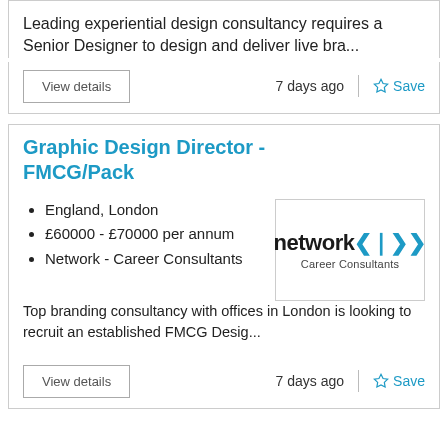Leading experiential design consultancy requires a Senior Designer to design and deliver live bra...
View details
7 days ago
Save
Graphic Design Director - FMCG/Pack
England, London
£60000 - £70000 per annum
Network - Career Consultants
[Figure (logo): Network Career Consultants logo with arrows symbol]
Top branding consultancy with offices in London is looking to recruit an established FMCG Desig...
View details
7 days ago
Save